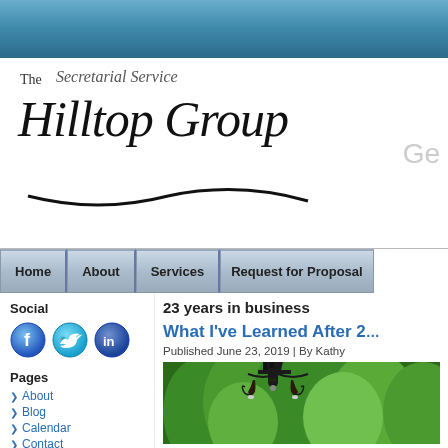[Figure (screenshot): Blue textured header background at top of webpage]
[Figure (logo): The Hilltop Group Secretarial Service logo with stylized script text and swoosh underline]
Ge
Home | About | Services | Request for Proposal
23 years in business
Social
[Figure (illustration): Facebook, Twitter, and LinkedIn social media icons (circular blue buttons)]
Pages
About
Blog
Calendar
Contact
What I've Learned After 2...
Published June 23, 2019 | By Kathy
[Figure (photo): Outdoor photo of a wrought-iron chandelier with green trees in the background]